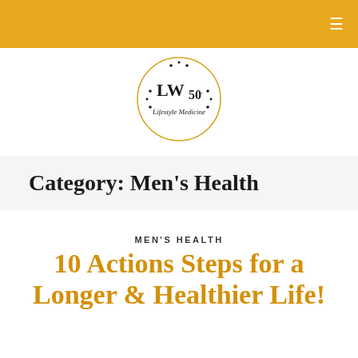≡
[Figure (logo): LW50 Lifestyle Medicine circular logo with gold border and decorative dots]
Category: Men's Health
MEN'S HEALTH
10 Actions Steps for a Longer & Healthier Life!